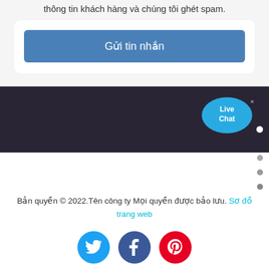thông tin khách hàng và chúng tôi ghét spam.
Gửi tin nhắn
[Figure (illustration): Dark section with Live Chat speech bubble widget in upper right corner, with an X close button. Vertical dots (white and gray) along the right side indicating scroll or carousel position.]
Bản quyền © 2022.Tên công ty Mọi quyền được bảo lưu. Sơ đồ trang web
[Figure (illustration): Three social media icon circles: Twitter (blue), Facebook (dark blue), Pinterest (red)]